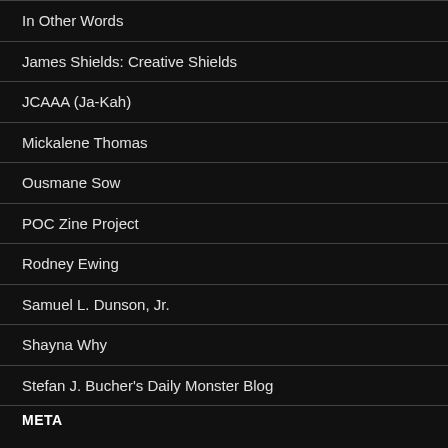In Other Words
James Shields: Creative Shields
JCAAA (Ja-Kah)
Mickalene Thomas
Ousmane Sow
POC Zine Project
Rodney Ewing
Samuel L. Dunson, Jr.
Shayna Why
Stefan J. Bucher's Daily Monster Blog
META